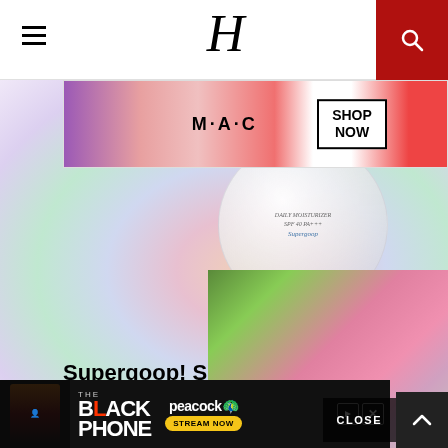H (Harper's Bazaar logo) with hamburger menu and search icon
[Figure (screenshot): MAC Cosmetics advertisement banner showing colorful lipsticks with SHOP NOW call to action]
[Figure (photo): Supergoop Daily Moisturizer SPF 40 PA+++ cream jar on colorful pastel background]
Supergoop! Superscreen Daily Moisturizer Broad Spectrum SPF 40 PA+++ Review
[Figure (screenshot): Fashion runway video showing models in colorful oversized coats with play button overlay]
[Figure (photo): Close-up product photo with white flowers in background]
[Figure (screenshot): The Black Phone advertisement on Peacock - Stream Now]
CLOSE button and scroll up arrow